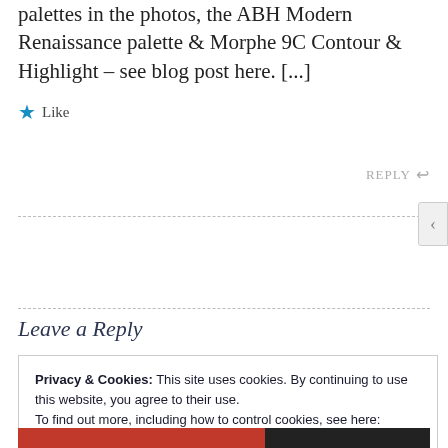palettes in the photos, the ABH Modern Renaissance palette & Morphe 9C Contour & Highlight – see blog post here. [...]
★ Like
REPLY ↩
Leave a Reply
Privacy & Cookies: This site uses cookies. By continuing to use this website, you agree to their use.
To find out more, including how to control cookies, see here: Cookie Policy
Close and accept